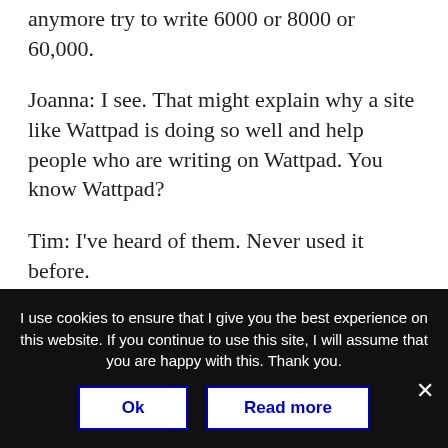anymore try to write 6000 or 8000 or 60,000.
Joanna: I see. That might explain why a site like Wattpad is doing so well and help people who are writing on Wattpad. You know Wattpad?
Tim: I've heard of them. Never used it before.
Joanna: I haven't either, and it's a lot more YA-type thing. But people will post a chapter, and
I use cookies to ensure that I give you the best experience on this website. If you continue to use this site, I will assume that you are happy with this. Thank you.
Ok
Read more